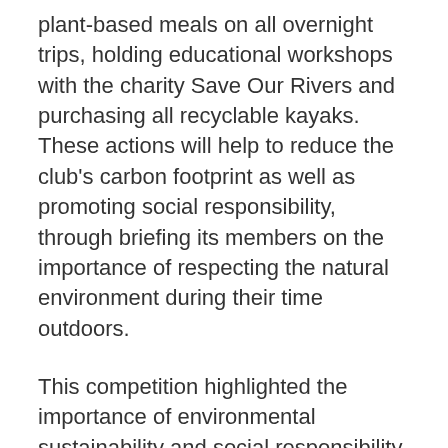plant-based meals on all overnight trips, holding educational workshops with the charity Save Our Rivers and purchasing all recyclable kayaks. These actions will help to reduce the club's carbon footprint as well as promoting social responsibility, through briefing its members on the importance of respecting the natural environment during their time outdoors.
This competition highlighted the importance of environmental sustainability and social responsibility within the University's sports teams. The Athletics Union is hoping to implement sustainability into its future activities and within its sports clubs in future…